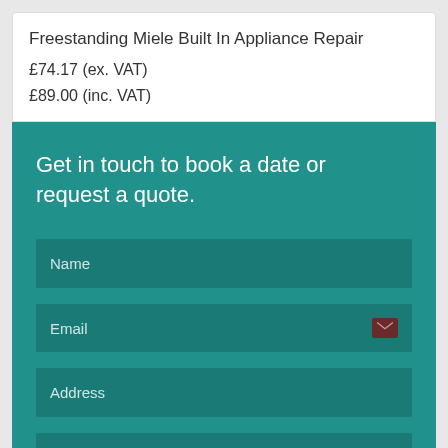Freestanding Miele Built In Appliance Repair
£74.17 (ex. VAT)
£89.00 (inc. VAT)
Get in touch to book a date or request a quote.
Name
Email
Address
Post Code
Phone Number